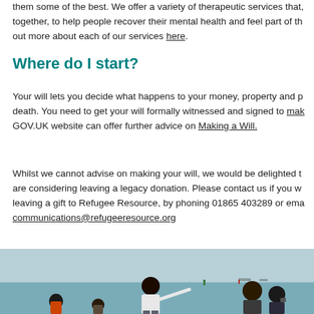them some of the best. We offer a variety of therapeutic services that, together, to help people recover their mental health and feel part of the out more about each of our services here.
Where do I start?
Your will lets you decide what happens to your money, property and p death. You need to get your will formally witnessed and signed to mak GOV.UK website can offer further advice on Making a Will.
Whilst we cannot advise on making your will, we would be delighted t are considering leaving a legacy donation. Please contact us if you w leaving a gift to Refugee Resource, by phoning 01865 403289 or ema communications@refugeeresource.org
[Figure (photo): Group of people including children standing at a waterfront/seaside location, viewed from behind. A woman in a white top has her arm outstretched pointing towards the water. The scene is on a sunny day with a light blue sky and calm sea.]